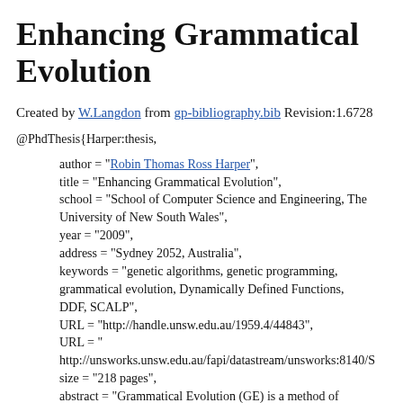Enhancing Grammatical Evolution
Created by W.Langdon from gp-bibliography.bib Revision:1.6728
@PhdThesis{Harper:thesis,
  author = "Robin Thomas Ross Harper",
  title = "Enhancing Grammatical Evolution",
  school = "School of Computer Science and Engineering, The University of New South Wales",
  year = "2009",
  address = "Sydney 2052, Australia",
  keywords = "genetic algorithms, genetic programming, grammatical evolution, Dynamically Defined Functions, DDF, SCALP",
  URL = "http://handle.unsw.edu.au/1959.4/44843",
  URL = "http://unsworks.unsw.edu.au/fapi/datastream/unsworks:8140/S
  size = "218 pages",
  abstract = "Grammatical Evolution (GE) is a method of using a general purpose evolutionary algorithm to evolve programme written in an arbitrary BNF grammar. This thesis